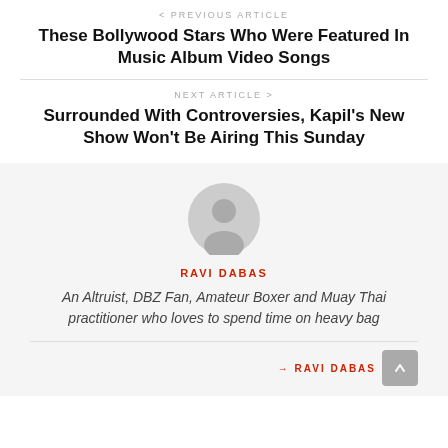< PREVIOUS ARTICLE
These Bollywood Stars Who Were Featured In Music Album Video Songs
NEXT ARTICLE >
Surrounded With Controversies, Kapil's New Show Won't Be Airing This Sunday
[Figure (illustration): Grey placeholder avatar icon showing a generic person silhouette]
RAVI DABAS
An Altruist, DBZ Fan, Amateur Boxer and Muay Thai practitioner who loves to spend time on heavy bag
→ RAVI DABAS